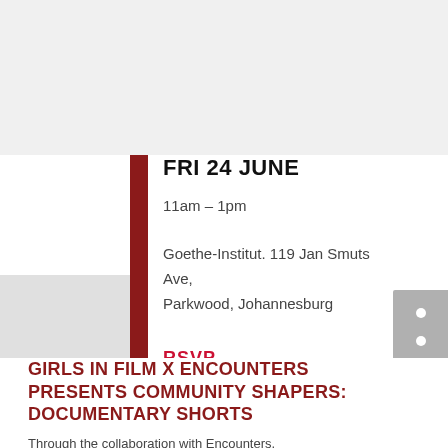FRI 24 JUNE
11am – 1pm
Goethe-Institut. 119 Jan Smuts Ave, Parkwood, Johannesburg
RSVP
GIRLS IN FILM X ENCOUNTERS PRESENTS COMMUNITY SHAPERS: DOCUMENTARY SHORTS
Through the collaboration with Encounters,